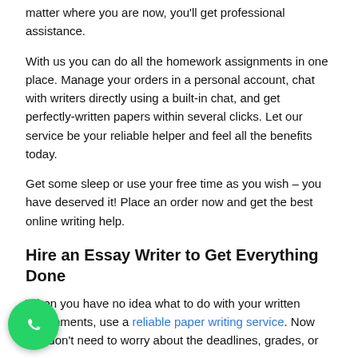matter where you are now, you'll get professional assistance.
With us you can do all the homework assignments in one place. Manage your orders in a personal account, chat with writers directly using a built-in chat, and get perfectly-written papers within several clicks. Let our service be your reliable helper and feel all the benefits today.
Get some sleep or use your free time as you wish – you have deserved it! Place an order now and get the best online writing help.
Hire an Essay Writer to Get Everything Done
When you have no idea what to do with your written assignments, use a reliable paper writing service. Now you don't need to worry about the deadlines, grades, or